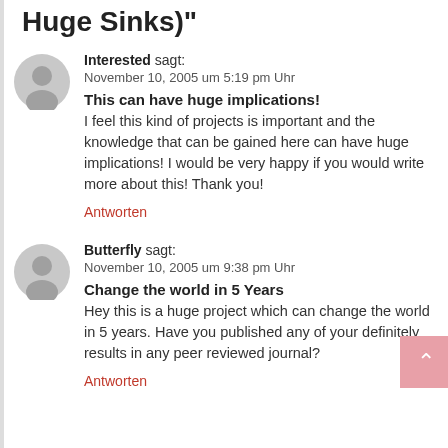Sinks)"
Interested sagt: November 10, 2005 um 5:19 pm Uhr
This can have huge implications! I feel this kind of projects is important and the knowledge that can be gained here can have huge implications! I would be very happy if you would write more about this! Thank you!
Antworten
Butterfly sagt: November 10, 2005 um 9:38 pm Uhr
Change the world in 5 Years Hey this is a huge project which can change the world in 5 years. Have you published any of your definitely results in any peer reviewed journal?
Antworten